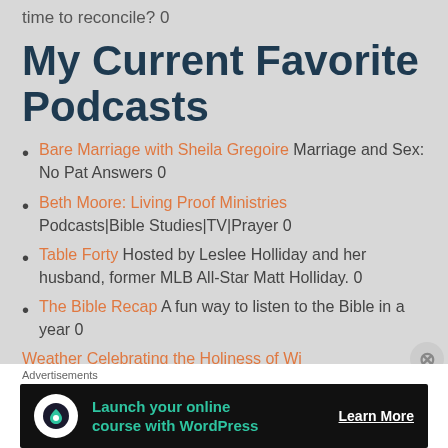time to reconcile? 0
My Current Favorite Podcasts
Bare Marriage with Sheila Gregoire Marriage and Sex: No Pat Answers 0
Beth Moore: Living Proof Ministries Podcasts|Bible Studies|TV|Prayer 0
Table Forty Hosted by Leslee Holliday and her husband, former MLB All-Star Matt Holliday. 0
The Bible Recap A fun way to listen to the Bible in a year 0
Weather Celebrating the Holiness of W...
Advertisements
[Figure (infographic): Advertisement banner: Launch your online course with WordPress — Learn More]